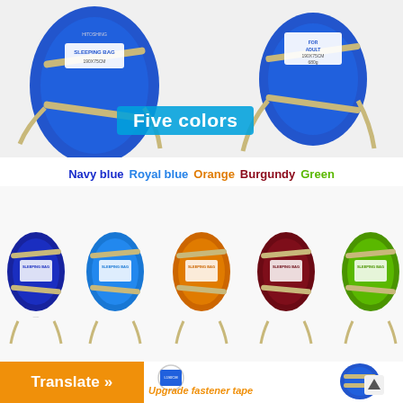[Figure (photo): Product photo showing blue sleeping bags in compressed carry pouches, two sizes visible, with straps, on white background. Text 'SLEEPING BAG 190X75CM' on label.]
Five colors
Navy blue  Royal blue  Orange  Burgundy  Green
[Figure (photo): Five compressed sleeping bag pouches in a row: Navy blue, Royal blue, Orange, Burgundy, and Green colors. Each has a brand label reading SLEEPING BAG with straps.]
[Figure (photo): Detail images: close-up of magic buckle (blue fabric with velcro), upgrade fastener tape label on blue bag showing L190CM x W75CM, LIMIT 15C COMFORT 20C. Also shows blue sleeping bag in carry pouch and a large blue sleeping bag pouch on right side.]
Magic buckle
Upgrade fastener tape
Translate »